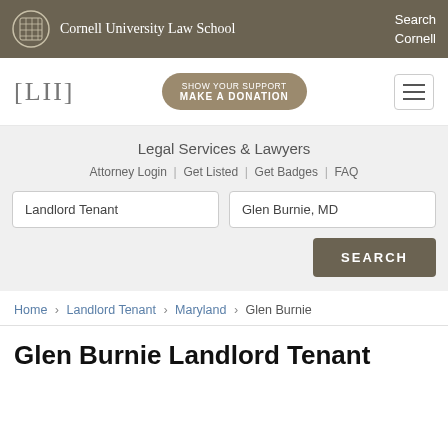Cornell University Law School | Search Cornell
[Figure (logo): LII logo with [LII] bracket text and SHOW YOUR SUPPORT MAKE A DONATION button]
Legal Services & Lawyers
Attorney Login | Get Listed | Get Badges | FAQ
Landlord Tenant [search field] | Glen Burnie, MD [search field] | SEARCH button
Home › Landlord Tenant › Maryland › Glen Burnie
Glen Burnie Landlord Tenant